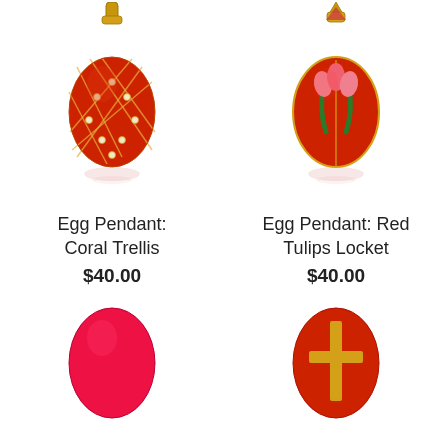[Figure (photo): Red coral trellis egg pendant with gold bail and crystal accents, shown with reflection below]
[Figure (photo): Red egg pendant locket with pink tulips and green leaves design, gold bail, shown with reflection below]
Egg Pendant: Coral Trellis
$40.00
Egg Pendant: Red Tulips Locket
$40.00
[Figure (photo): Egg pendant (bottom row left, partially visible) - Egg Pendant: Hot [continued below]]
[Figure (photo): Egg pendant (bottom row right, partially visible) - Egg Pendant: Cross [continued below]]
Egg Pendant: Hot
Egg Pendant: Cross